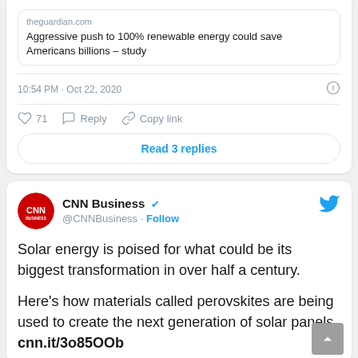[Figure (screenshot): Top portion of a tweet card showing a Guardian article link preview with headline 'Aggressive push to 100% renewable energy could save Americans billions – study', timestamp '10:54 PM · Oct 22, 2020', like count 71, Reply and Copy link actions, and a 'Read 3 replies' button.]
[Figure (screenshot): CNN Business tweet card with CNN logo avatar, verified checkmark, @CNNBusiness handle, Follow button, Twitter bird icon. Tweet text: 'Solar energy is poised for what could be its biggest transformation in over half a century. Here's how materials called perovskites are being used to create the next generation of solar panels cnn.it/3o85OOb']